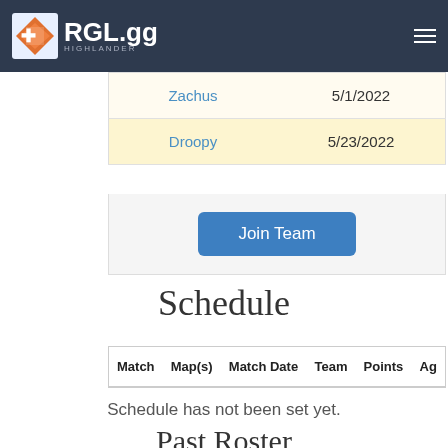RGL.gg HIGHLANDER
|  | Joined |
| --- | --- |
| Zachus | 5/1/2022 |
| Droopy | 5/23/2022 |
Join Team
Schedule
| Match | Map(s) | Match Date | Team | Points | Ag... |
| --- | --- | --- | --- | --- | --- |
Schedule has not been set yet.
Past Roster
| Name | Joined | Left |
| --- | --- | --- |